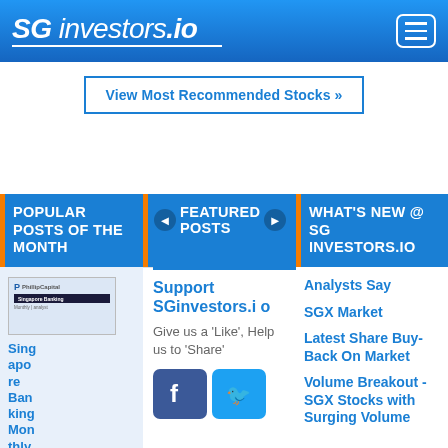SG investors.io
View Most Recommended Stocks »
POPULAR POSTS OF THE MONTH
FEATURED POSTS
WHAT'S NEW @ SG INVESTORS.IO
[Figure (screenshot): PhillipCapital Singapore Banking thumbnail image]
Singapore Banking Monthly - Phill
Support SGinvestors.io
Give us a 'Like', Help us to 'Share'
Analysts Say
SGX Market
Latest Share Buy-Back On Market
Volume Breakout - SGX Stocks with Surging Volume